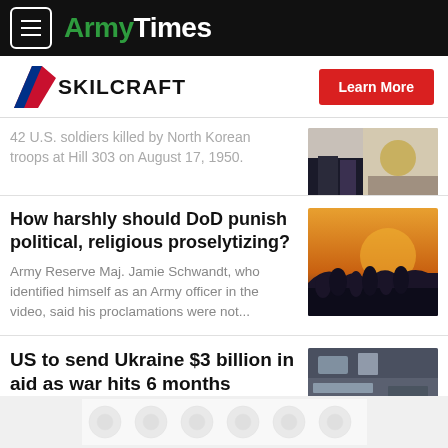ArmyTimes
[Figure (logo): SKILCRAFT logo with chevron and Learn More button]
troops at Hill 303 on August 17, 1950.
[Figure (photo): Photo of military uniform legs near memorial flowers]
How harshly should DoD punish political, religious proselytizing?
Army Reserve Maj. Jamie Schwandt, who identified himself as an Army officer in the video, said his proclamations were not...
[Figure (photo): Silhouettes of soldiers against orange sunset sky]
US to send Ukraine $3 billion in aid as war hits 6 months
[Figure (photo): Industrial or military facility interior photo]
[Figure (other): Bottom advertisement banner with circular pattern design]